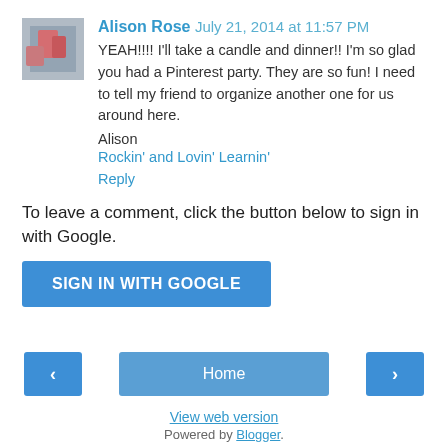Alison Rose  July 21, 2014 at 11:57 PM
YEAH!!!! I'll take a candle and dinner!! I'm so glad you had a Pinterest party. They are so fun! I need to tell my friend to organize another one for us around here.
Alison
Rockin' and Lovin' Learnin'
Reply
To leave a comment, click the button below to sign in with Google.
SIGN IN WITH GOOGLE
Home
View web version
Powered by Blogger.